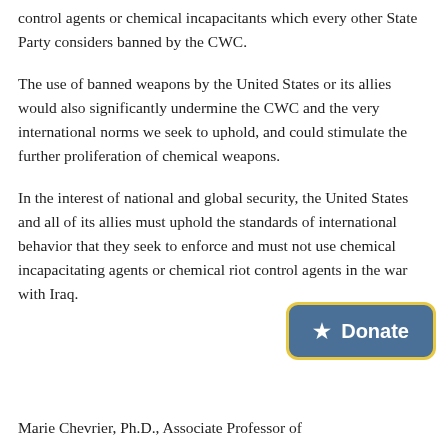control agents or chemical incapacitants which every other State Party considers banned by the CWC.
The use of banned weapons by the United States or its allies would also significantly undermine the CWC and the very international norms we seek to uphold, and could stimulate the further proliferation of chemical weapons.
In the interest of national and global security, the United States and all of its allies must uphold the standards of international behavior that they seek to enforce and must not use chemical incapacitating agents or chemical riot control agents in the war with Iraq.
Marie Chevrier, Ph.D., Associate Professor of